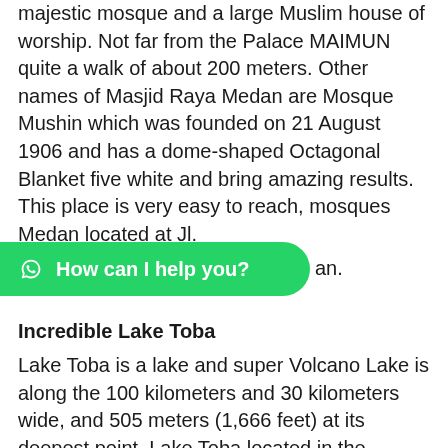majestic mosque and a large Muslim house of worship. Not far from the Palace MAIMUN quite a walk of about 200 meters. Other names of Masjid Raya Medan are Mosque Mushin which was founded on 21 August 1906 and has a dome-shaped Octagonal Blanket five white and bring amazing results. This place is very easy to reach, mosques Medan located at Jl.
[Figure (other): WhatsApp chat button overlay with text 'How can I help you?' on green rounded pill background with WhatsApp icon]
an.
Incredible Lake Toba
Lake Toba is a lake and super Volcano Lake is along the 100 kilometers and 30 kilometers wide, and 505 meters (1,666 feet) at its deepest point. Lake Toba located in the middle of the north part of the Indonesian island of Sumatra with a surface elevation of about 900 meters (2,953 feet) from sea level. Lake Toba is